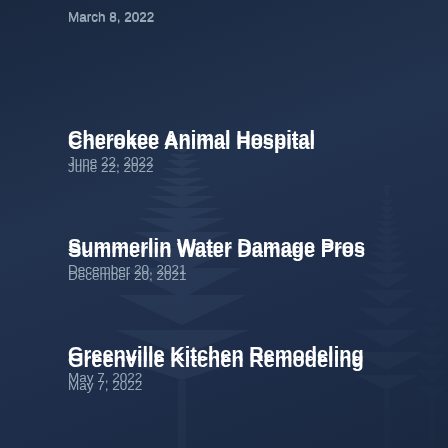March 8, 2022
Cherokee Animal Hospital
June 22, 2022
Summerlin Water Damage Pros
December 20, 2021
Greenville Kitchen Remodeling
May 7, 2022
Boat 4 Hire
May 27, 2022
Crompton Brothers Automotive
March 15, 2022